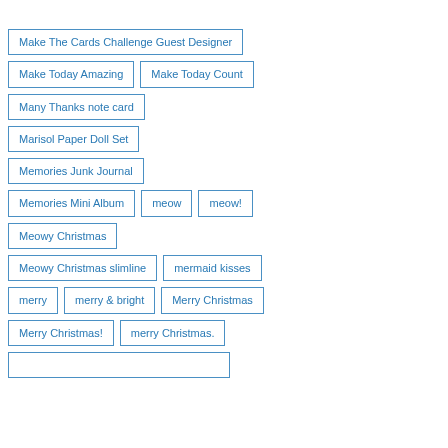Make The Cards Challenge Guest Designer
Make Today Amazing
Make Today Count
Many Thanks note card
Marisol Paper Doll Set
Memories Junk Journal
Memories Mini Album
meow
meow!
Meowy Christmas
Meowy Christmas slimline
mermaid kisses
merry
merry & bright
Merry Christmas
Merry Christmas!
merry Christmas.
Merry Christmas C...